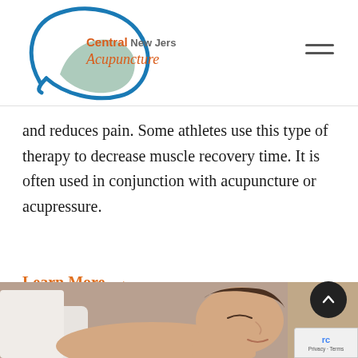[Figure (logo): Central New Jersey Acupuncture logo with circular blue and green brushstroke design]
and reduces pain. Some athletes use this type of therapy to decrease muscle recovery time. It is often used in conjunction with acupuncture or acupressure.
Learn More →
[Figure (photo): Woman lying down with eyes closed, appearing to receive acupuncture treatment, side profile view]